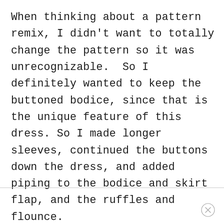When thinking about a pattern remix, I didn't want to totally change the pattern so it was unrecognizable.  So I definitely wanted to keep the buttoned bodice, since that is the unique feature of this dress. So I made longer sleeves, continued the buttons down the dress, and added piping to the bodice and skirt flap, and the ruffles and flounce.